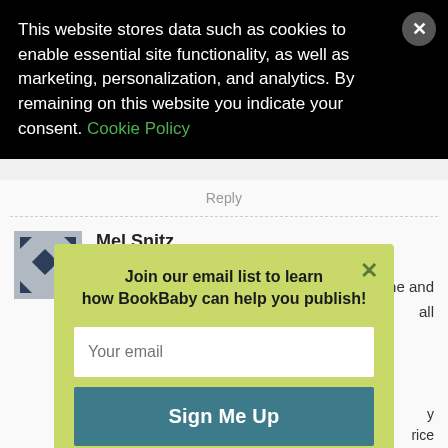This website stores data such as cookies to enable essential site functionality, as well as marketing, personalization, and analytics. By remaining on this website you indicate your consent. Cookie Policy
Reply
Mel Snitz
April 7, 2020 at 7:00 pm
Lisa:
Oh goodness, editing still more mistakes and
[Figure (illustration): Avatar icon with diamond/arrow pattern in dark navy blue on grey background]
Join our email list to learn how BookBaby can help you publish!
Your email
Sign Me Up